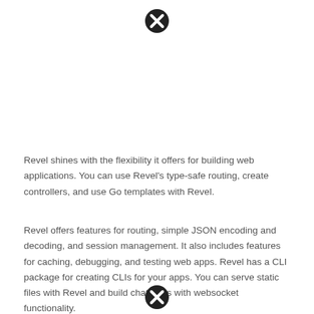[Figure (other): Close/error icon (circle with X) at top center of page]
Revel shines with the flexibility it offers for building web applications. You can use Revel's type-safe routing, create controllers, and use Go templates with Revel.
Revel offers features for routing, simple JSON encoding and decoding, and session management. It also includes features for caching, debugging, and testing web apps. Revel has a CLI package for creating CLIs for your apps. You can serve static files with Revel and build chat apps with websocket functionality.
[Figure (other): Close/error icon (circle with X) at bottom center of page]